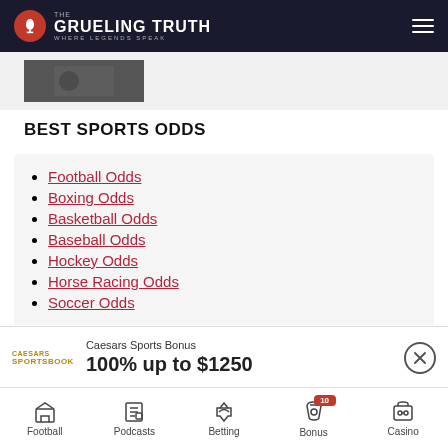The Grueling Truth — Where Legends Speak
[Figure (photo): Partial image thumbnail visible at top of page]
BEST SPORTS ODDS
Football Odds
Boxing Odds
Basketball Odds
Baseball Odds
Hockey Odds
Horse Racing Odds
Soccer Odds
Caesars Sports Bonus
100% up to $1250